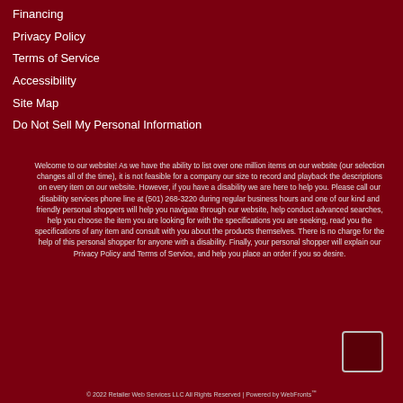Financing
Privacy Policy
Terms of Service
Accessibility
Site Map
Do Not Sell My Personal Information
Welcome to our website! As we have the ability to list over one million items on our website (our selection changes all of the time), it is not feasible for a company our size to record and playback the descriptions on every item on our website. However, if you have a disability we are here to help you. Please call our disability services phone line at (501) 268-3220 during regular business hours and one of our kind and friendly personal shoppers will help you navigate through our website, help conduct advanced searches, help you choose the item you are looking for with the specifications you are seeking, read you the specifications of any item and consult with you about the products themselves. There is no charge for the help of this personal shopper for anyone with a disability. Finally, your personal shopper will explain our Privacy Policy and Terms of Service, and help you place an order if you so desire.
© 2022 Retailer Web Services LLC All Rights Reserved | Powered by WebFronts™